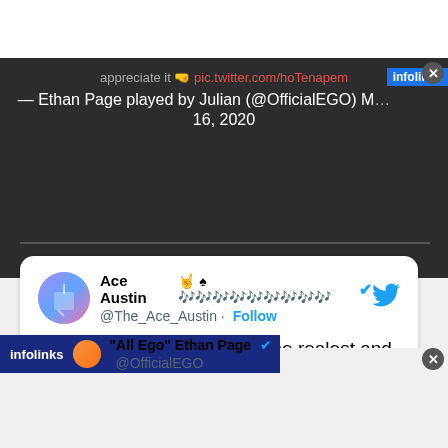[Figure (screenshot): Screenshot of a webpage showing a dark banner with text attribution '— Ethan Page played by Julian (@OfficialEGO) M... 16, 2020' and a tweet card from Ace Austin (@The_Ace_Austin) stating '@IMPACTWRESTLING is the realest and I have not once regretted my decision to sign last year.' with an infolinks ad overlay and a partial tweet preview at bottom from 'All Ego' Ethan Page @OfficialEGO.]